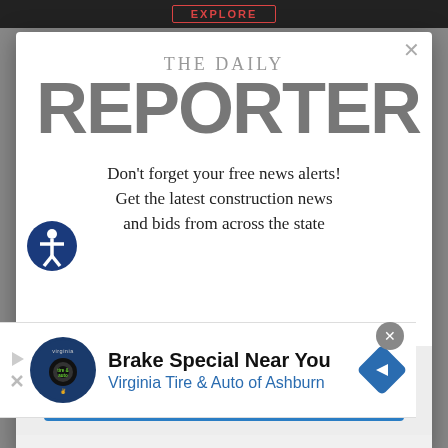[Figure (screenshot): Top dark navigation bar with EXPLORE button in red text]
THE DAILY REPORTER
Don't forget your free news alerts! Get the latest construction news and bids from across the state
[Figure (infographic): Advertisement banner: Brake Special Near You — Virginia Tire & Auto of Ashburn, with tire & auto logo and navigation arrow icon]
SIGN UP FOR FREE